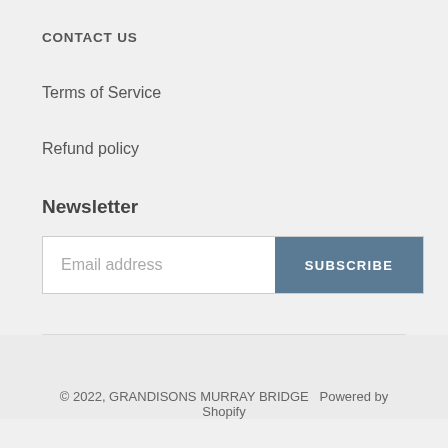CONTACT US
Terms of Service
Refund policy
Newsletter
Email address
SUBSCRIBE
© 2022, GRANDISONS MURRAY BRIDGE  Powered by Shopify